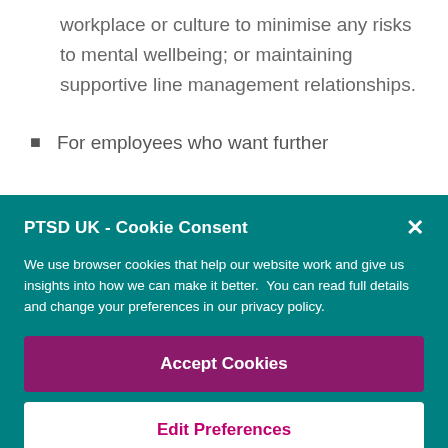workplace or culture to minimise any risks to mental wellbeing; or maintaining supportive line management relationships.
For employees who want further
PTSD UK - Cookie Consent
We use browser cookies that help our website work and give us insights into how we can make it better. You can read full details and change your preferences in our privacy policy.
Accept Cookies
Edit Preferences
Cookie Policy   Privacy